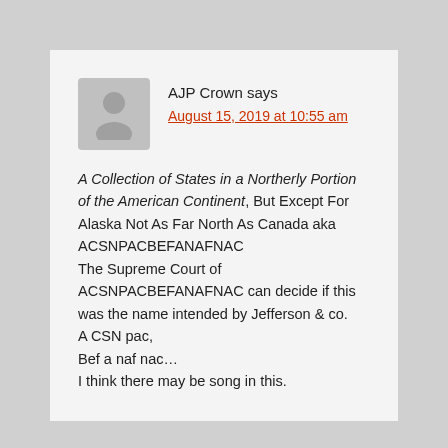AJP Crown says
August 15, 2019 at 10:55 am
A Collection of States in a Northerly Portion of the American Continent, But Except For Alaska Not As Far North As Canada aka ACSNPACBEFANAFNAC
The Supreme Court of ACSNPACBEFANAFNAC can decide if this was the name intended by Jefferson & co.
A CSN pac,
Bef a naf nac…
I think there may be song in this.